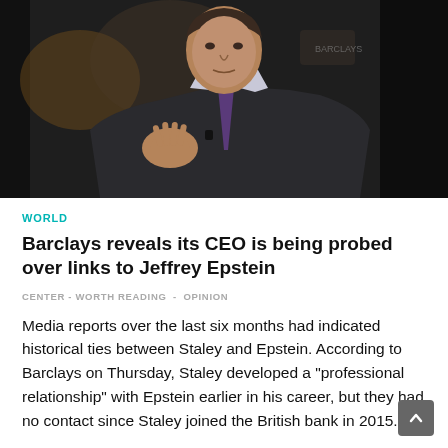[Figure (photo): A man in a dark suit with a purple tie gesturing with his hand, photographed in a studio or office setting.]
WORLD
Barclays reveals its CEO is being probed over links to Jeffrey Epstein
CENTER - WORTH READING  -  OPINION
Media reports over the last six months had indicated historical ties between Staley and Epstein. According to Barclays on Thursday, Staley developed a "professional relationship" with Epstein earlier in his career, but they had no contact since Staley joined the British bank in 2015.